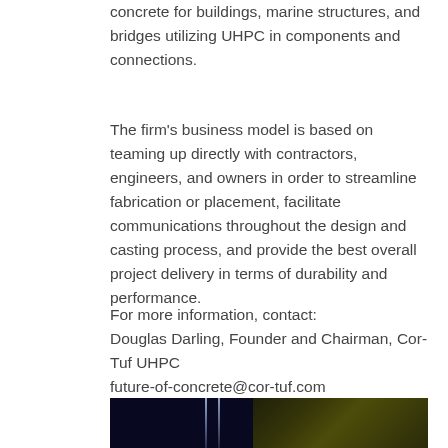concrete for buildings, marine structures, and bridges utilizing UHPC in components and connections.
The firm's business model is based on teaming up directly with contractors, engineers, and owners in order to streamline fabrication or placement, facilitate communications throughout the design and casting process, and provide the best overall project delivery in terms of durability and performance.
For more information, contact:
Douglas Darling, Founder and Chairman, Cor-Tuf UHPC
future-of-concrete@cor-tuf.com
703.656.1445
[Figure (photo): Night photograph of a bridge structure illuminated with yellow/green lights against a dark sky, with what appears to be suspension cables visible.]